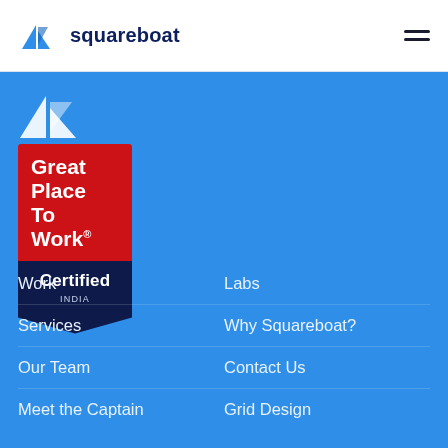squareboat
[Figure (logo): Squareboat logo on blue background - white triangular boat/sail icon]
[Figure (illustration): Great Place To Work Certified INDIA badge - red rectangle top with white bold text 'Great Place To Work.' and dark navy blue pointed banner below with 'Certified INDIA']
Work
Labs
Services
Why Squareboat?
Our Team
Contact Us
Meet the Captain
Grid Design